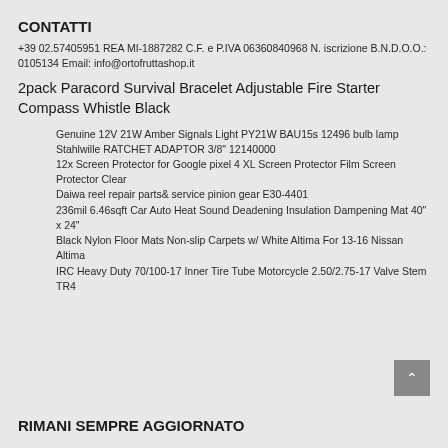CONTATTI
+39 02.57405951 REA MI-1887282 C.F. e P.IVA 06360840968 N. iscrizione B.N.D.O.O.: 0105134 Email: info@ortofruttashop.it
2pack Paracord Survival Bracelet Adjustable Fire Starter Compass Whistle Black
Genuine 12V 21W Amber Signals Light PY21W BAU15s 12496 bulb lamp
Stahlwille RATCHET ADAPTOR 3/8" 12140000
12x Screen Protector for Google pixel 4 XL Screen Protector Film Screen Protector Clear
Daiwa reel repair parts& service pinion gear E30-4401
236mil 6.46sqft Car Auto Heat Sound Deadening Insulation Dampening Mat 40" x 24"
Black Nylon Floor Mats Non-slip Carpets w/ White Altima For 13-16 Nissan Altima
IRC Heavy Duty 70/100-17 Inner Tire Tube Motorcycle 2.50/2.75-17 Valve Stem TR4
RIMANI SEMPRE AGGIORNATO